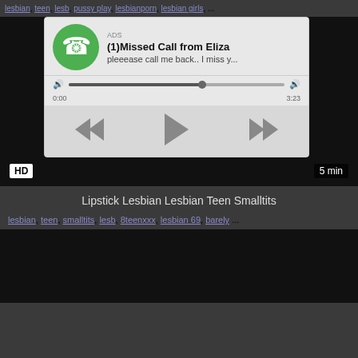lesbian, teen, lesb, pussy play, lesbianporn, lesbian girls, ...
[Figure (screenshot): Video player with embedded ad popup showing missed call notification from Eliza with audio controls showing 0:00 / 3:23, and media playback buttons. HD badge bottom left, 5 min duration bottom right.]
Lipstick Lesbian Lesbian Teen Smalltits
lesbian, teen, smalltits, lesb, 8teenxxx, lesbian 69, barely ...
[Figure (screenshot): Dark video thumbnail, second video]